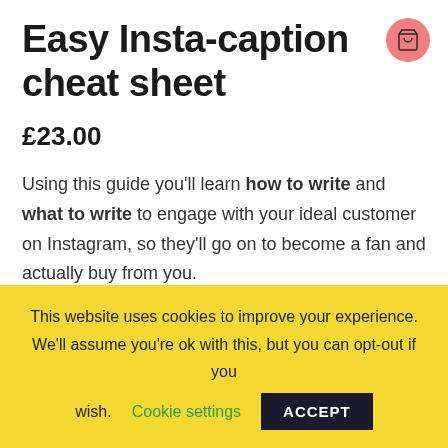Easy Insta-caption cheat sheet
£23.00
Using this guide you'll learn how to write and what to write to engage with your ideal customer on Instagram, so they'll go on to become a fan and actually buy from you.
This website uses cookies to improve your experience. We'll assume you're ok with this, but you can opt-out if you wish.
Cookie settings   ACCEPT